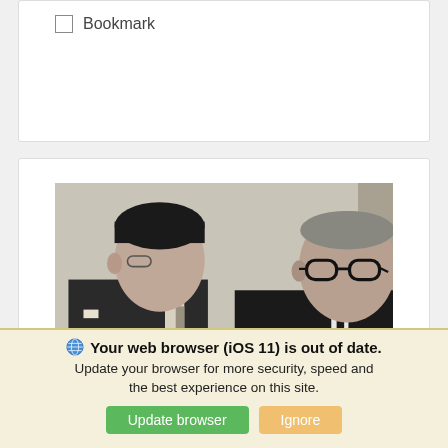Bookmark
[Figure (photo): Black and white photograph of two men in suits, one younger on the left and one older with glasses on the right, appearing to be in conversation indoors.]
Your web browser (iOS 11) is out of date. Update your browser for more security, speed and the best experience on this site.
Update browser
Ignore